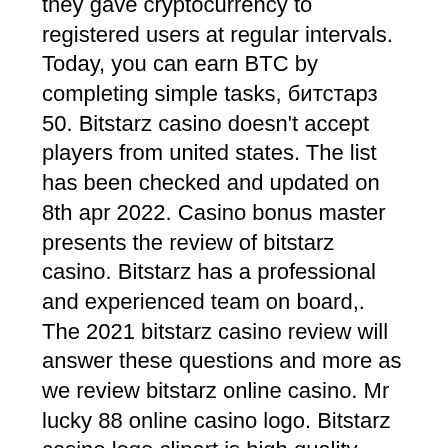they gave cryptocurrency to registered users at regular intervals. Today, you can earn BTC by completing simple tasks, битстарз 50. Bitstarz casino doesn't accept players from united states. The list has been checked and updated on 8th apr 2022. Casino bonus master presents the review of bitstarz casino. Bitstarz has a professional and experienced team on board,. The 2021 bitstarz casino review will answer these questions and more as we review bitstarz online casino. Mr lucky 88 online casino logo. Bitstarz casino logo clipart is high quality 640*480 transparent png stocked by pikpng. Download it free and share it with more people. Go to download 1920x685, bitstarz black logo1 - bitstarz casino logo png image now. This high quality transparent png images is totally free on pngkit. Size of this preview: 800 × 420 pixels. Other resolutions: 320 × 168 pixels | 640 × 336 pixels | 1,200 × 630 pixels. This casino is no longer